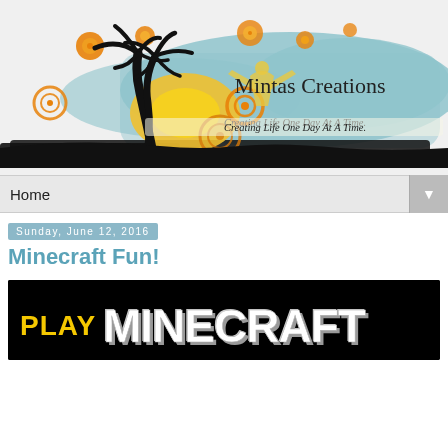[Figure (logo): Mintas Creations blog header banner with palm tree silhouette, yellow sun, teal splash background, orange decorative circles, person silhouette with arms raised, text 'Mintas Creations' and tagline 'Creating Life One Day At A Time.']
Home ▼
Sunday, June 12, 2016
Minecraft Fun!
[Figure (screenshot): Play Minecraft logo/banner — black background with yellow 'PLAY' text and large white stone-textured 'MINECRAFT' lettering]